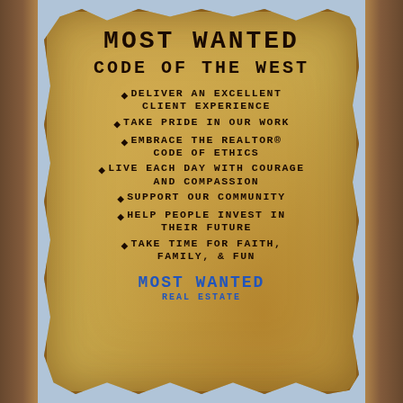MOST WANTED
CODE OF THE WEST
DELIVER AN EXCELLENT CLIENT EXPERIENCE
TAKE PRIDE IN OUR WORK
EMBRACE THE REALTOR® CODE OF ETHICS
LIVE EACH DAY WITH COURAGE AND COMPASSION
SUPPORT OUR COMMUNITY
HELP PEOPLE INVEST IN THEIR FUTURE
TAKE TIME FOR FAITH, FAMILY, & FUN
MOST WANTED
REAL ESTATE